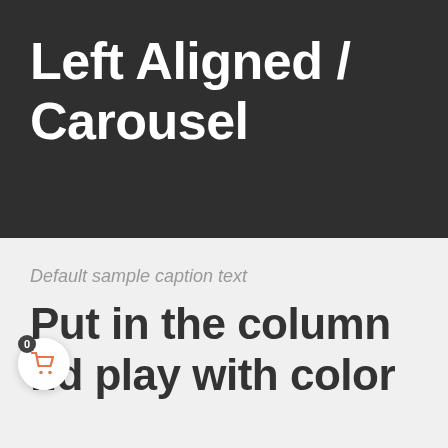Left Aligned / Carousel
Default sample caption text
Put in the column and play with color